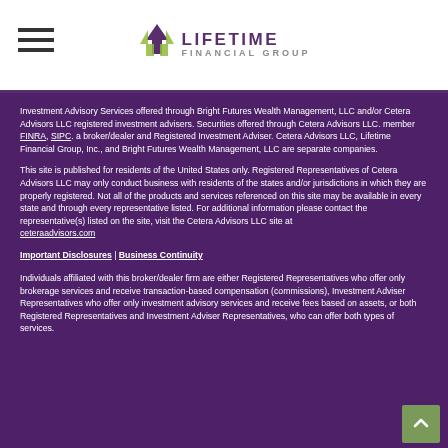Lifetime Financial Group
Investment Advisory Services offered through Bright Futures Wealth Management, LLC and/or Cetera Advisors LLC registered investment advisers. Securities offered through Cetera Advisors LLC. member FINRA, SIPC. a broker/dealer and Registered Investment Adviser. Cetera Advisors LLC, Lifetime Financial Group, Inc., and Bright Futures Wealth Management, LLC are separate companies.
This site is published for residents of the United States only. Registered Representatives of Cetera Advisors LLC may only conduct business with residents of the states and/or jurisdictions in which they are properly registered. Not all of the products and services referenced on this site may be available in every state and through every representative listed. For additional information please contact the representative(s) listed on the site, visit the Cetera Advisors LLC site at ceteraadvisors.com
Important Disclosures | Business Continuity
Individuals affiliated with this broker/dealer firm are either Registered Representatives who offer only brokerage services and receive transaction-based compensation (commissions), Investment Adviser Representatives who offer only investment advisory services and receive fees based on assets, or both Registered Representatives and Investment Adviser Representatives, who can offer both types of services.